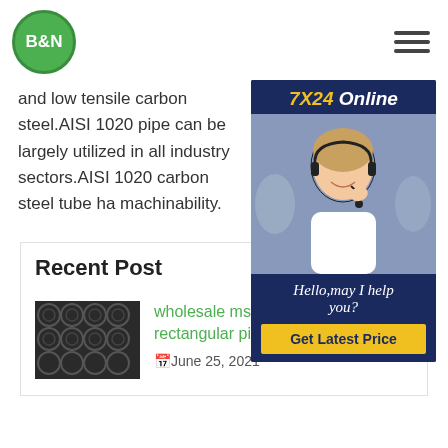B&N [logo] | hamburger menu
and low tensile carbon steel.AISI 1020 pipe can be largely utilized in all industry sectors.AISI 1020 carbon steel tube ha machinability.
[Figure (infographic): 7X24 Online support widget with photo of woman with headset, dark blue background, text: Hello,may I help you? and Get Latest Price button]
Recent Post
[Figure (photo): Thumbnail photo of black steel pipes bundled together]
wholesale ms black 10x10mm rectangular pipe
June 25, 2021